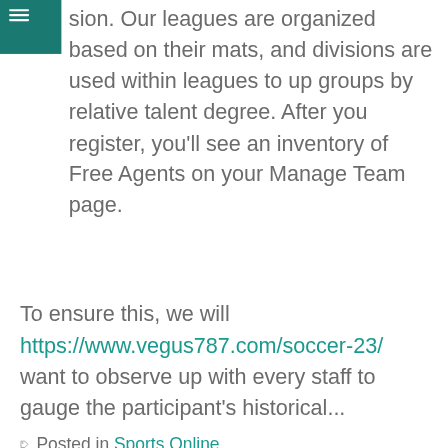sion. Our leagues are organized based on their mats, and divisions are used within leagues to up groups by relative talent degree. After you register, you'll see an inventory of Free Agents on your Manage Team page.
To ensure this, we will https://www.vegus787.com/soccer-23/ want to observe up with every staff to gauge the participant's historical...
Posted in Sports Online
Soccer Betting